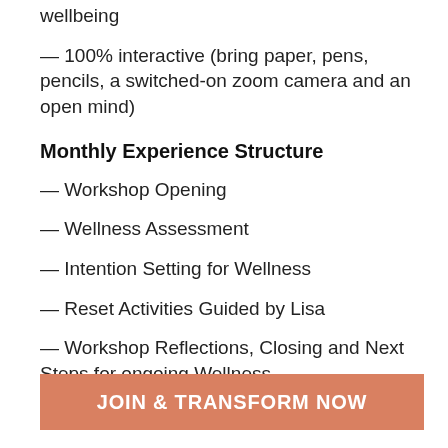wellbeing
— 100% interactive (bring paper, pens, pencils, a switched-on zoom camera and an open mind)
Monthly Experience Structure
— Workshop Opening
— Wellness Assessment
— Intention Setting for Wellness
— Reset Activities Guided by Lisa
— Workshop Reflections, Closing and Next Steps for ongoing Wellness
JOIN & TRANSFORM NOW